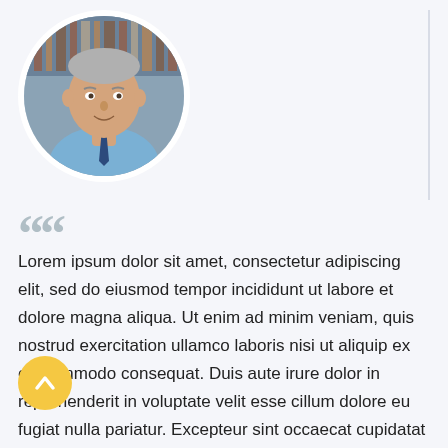[Figure (photo): Circular portrait photo of an elderly man in a blue shirt and striped tie, smiling, with bookshelves visible in the background.]
““
Lorem ipsum dolor sit amet, consectetur adipiscing elit, sed do eiusmod tempor incididunt ut labore et dolore magna aliqua. Ut enim ad minim veniam, quis nostrud exercitation ullamco laboris nisi ut aliquip ex ea commodo consequat. Duis aute irure dolor in reprehenderit in voluptate velit esse cillum dolore eu fugiat nulla pariatur. Excepteur sint occaecat cupidatat non proident. On the other hand, we denounce with righteous indignation and dislike men who are so beguiled and demoralized by the charms of pleasure of the moment, so blinded by desire, that